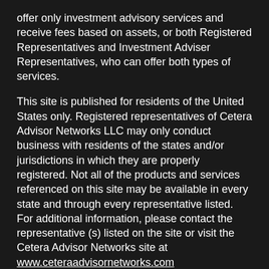offer only investment advisory services and receive fees based on assets, or both Registered Representatives and Investment Adviser Representatives, who can offer both types of services.
This site is published for residents of the United States only. Registered representatives of Cetera Advisor Networks LLC may only conduct business with residents of the states and/or jurisdictions in which they are properly registered. Not all of the products and services referenced on this site may be available in every state and through every representative listed. For additional information, please contact the representative (s) listed on the site or visit the Cetera Advisor Networks site at www.ceteraadvisornetworks.com
[ Important Disclosures | Business Continuity | Order Routing Disclosure | www.ceteraadvisornetworks.com ]
Site Map